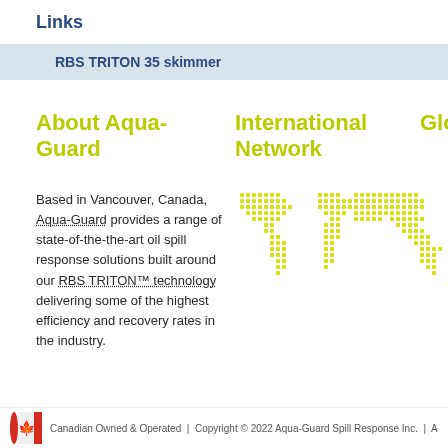Links
RBS TRITON 35 skimmer
About Aqua-Guard
International Network
Glo
Based in Vancouver, Canada, Aqua-Guard provides a range of state-of-the-the-art oil spill response solutions built around our RBS TRITON™ technology delivering some of the highest efficiency and recovery rates in the industry.
[Figure (map): Yellow dotted world map showing international network presence]
Canadian Owned & Operated | Copyright © 2022 Aqua-Guard Spill Response Inc. | A